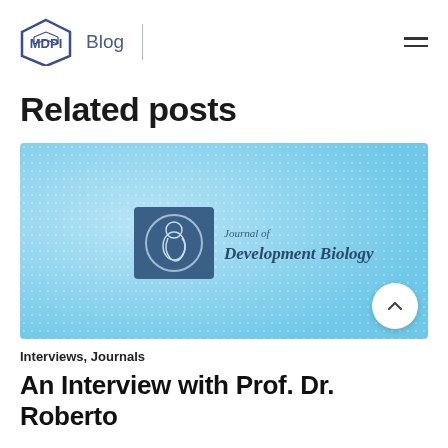MDPI Blog
Related posts
[Figure (logo): Journal of Development Biology journal cover image on a light blue dotted background, with the journal logo (embryo in a circle) and text 'Journal of Development Biology']
Interviews, Journals
An Interview with Prof. Dr. Roberto